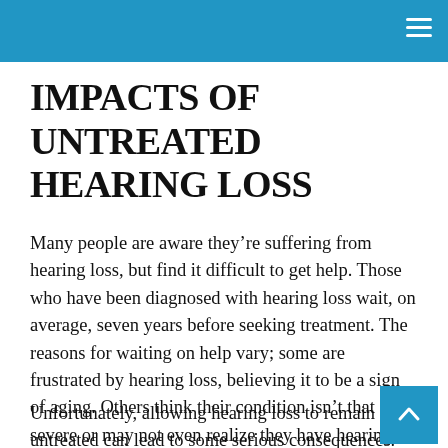IMPACTS OF UNTREATED HEARING LOSS
Many people are aware they’re suffering from hearing loss, but find it difficult to get help. Those who have been diagnosed with hearing loss wait, on average, seven years before seeking treatment. The reasons for waiting on help vary; some are frustrated by hearing loss, believing it to be a sign of aging. Others think their condition isn’t that severe or may not even realize they have hearing problems.
Unfortunately, allowing hearing loss to remain untreated can lead to some serious consequences.